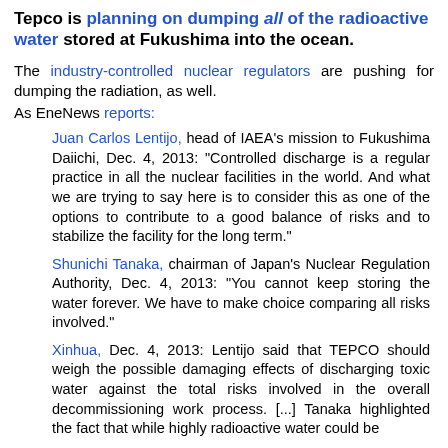Tepco is planning on dumping all of the radioactive water stored at Fukushima into the ocean.
The industry-controlled nuclear regulators are pushing for dumping the radiation, as well.
As EneNews reports:
Juan Carlos Lentijo, head of IAEA's mission to Fukushima Daiichi, Dec. 4, 2013: "Controlled discharge is a regular practice in all the nuclear facilities in the world. And what we are trying to say here is to consider this as one of the options to contribute to a good balance of risks and to stabilize the facility for the long term."
Shunichi Tanaka, chairman of Japan's Nuclear Regulation Authority, Dec. 4, 2013: "You cannot keep storing the water forever. We have to make choice comparing all risks involved."
Xinhua, Dec. 4, 2013: Lentijo said that TEPCO should weigh the possible damaging effects of discharging toxic water against the total risks involved in the overall decommissioning work process. [...] Tanaka highlighted the fact that while highly radioactive water could be